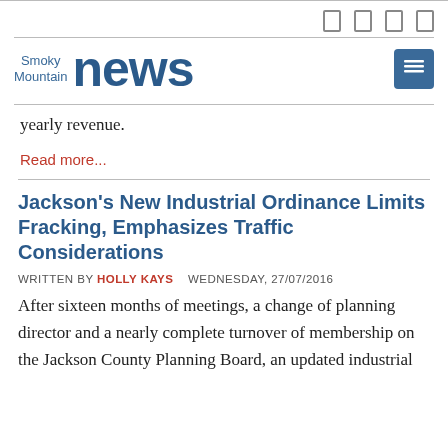Smoky Mountain news [nav icons]
yearly revenue.
Read more...
Jackson's New Industrial Ordinance Limits Fracking, Emphasizes Traffic Considerations
WRITTEN BY HOLLY KAYS   WEDNESDAY, 27/07/2016
After sixteen months of meetings, a change of planning director and a nearly complete turnover of membership on the Jackson County Planning Board, an updated industrial